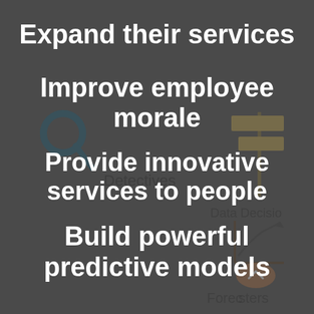[Figure (infographic): Dark gray background with faded watermark icons: a magnifying glass with 'Detectives' text, a signpost with 'Data Decisions' text, and a bar chart with arrow and 'Forecasters' text]
Expand their services
Improve employee morale
Provide innovative services to people
Build powerful predictive models